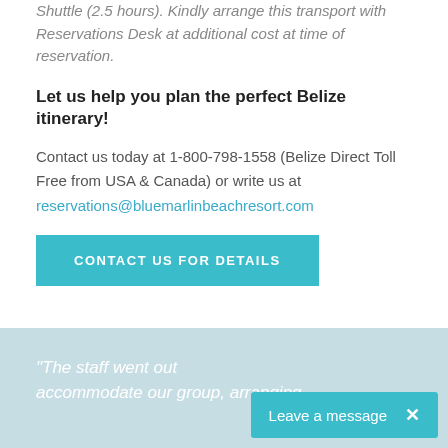Shuttle (2.5 hours). Kindly arrange this transport with Reservations Desk at additional cost at time of reservation.
Let us help you plan the perfect Belize itinerary!
Contact us today at 1-800-798-1558 (Belize Direct Toll Free from USA & Canada) or write us at reservations@bluemarlinbeachresort.com
[Figure (other): Teal 'CONTACT US FOR DETAILS' button]
[Figure (other): Light blue beach/water background section with italic quote text: "The staff went out ... accommodate our group, arranging" and a 'Leave a message' chat bubble overlay]